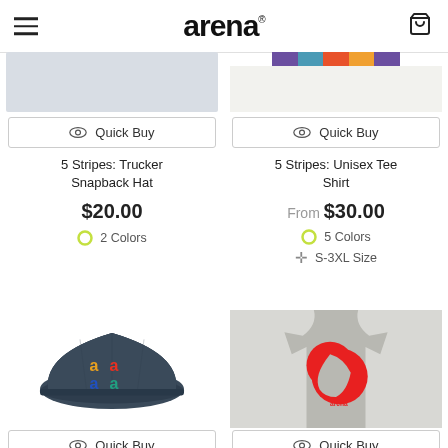arena
Quick Buy
Quick Buy
5 Stripes: Trucker Snapback Hat
5 Stripes: Unisex Tee Shirt
$20.00
From $30.00
2 Colors
5 Colors
S-3XL Size
[Figure (photo): Dark navy trucker snapback hat with colorful arena logo letters]
[Figure (photo): Gray tank top with red abstract arena logo graphic]
Quick Buy
Quick Buy